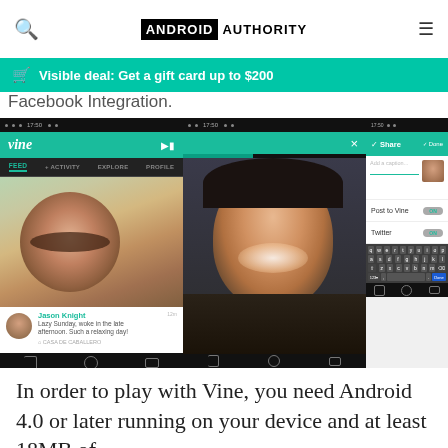ANDROID AUTHORITY
Visible deal: Get a gift card up to $200
Facebook Integration.
[Figure (screenshot): Three Android smartphone screenshots of the Vine app: (1) Left panel shows the Vine feed with a sleeping woman photo and a post by Jason Knight; (2) Middle panel shows Vine recording interface with a smiling woman; (3) Right panel shows the Vine Share screen with caption input, Post to Vine and Twitter toggles set to ON, and an Android keyboard visible.]
In order to play with Vine, you need Android 4.0 or later running on your device and at least 18MB of